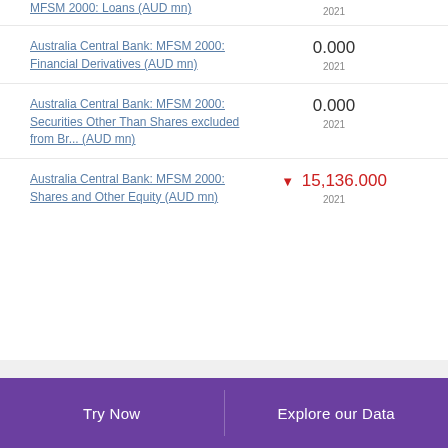MFSM 2000: Loans (AUD mn) — 2021
Australia Central Bank: MFSM 2000: Financial Derivatives (AUD mn) — 0.000 — 2021
Australia Central Bank: MFSM 2000: Securities Other Than Shares excluded from Br... (AUD mn) — 0.000 — 2021
Australia Central Bank: MFSM 2000: Shares and Other Equity (AUD mn) — ▼ 15,136.000 — 2021
Try Now   Explore our Data